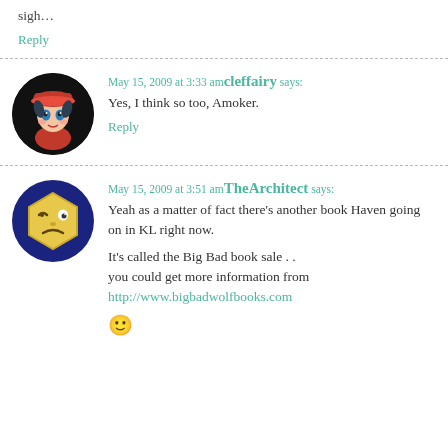sigh…
Reply
May 15, 2009 at 3:33 am cleffairy says:
Yes, I think so too, Amoker.
Reply
May 15, 2009 at 3:51 am TheArchitect says:
Yeah as a matter of fact there's another book Haven going on in KL right now.
It's called the Big Bad book sale . .
you could get more information from
http://www.bigbadwolfbooks.com
🙂